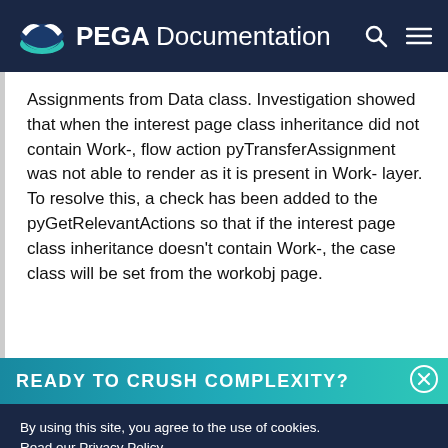PEGA Documentation
Assignments from Data class. Investigation showed that when the interest page class inheritance did not contain Work-, flow action pyTransferAssignment was not able to render as it is present in Work- layer. To resolve this, a check has been added to the pyGetRelevantActions so that if the interest page class inheritance doesn't contain Work-, the case class will be set from the workobj page.
READY TO CRUSH COMPLEXITY?
By using this site, you agree to the use of cookies. Read our Privacy Policy
Accept and continue   About cookies